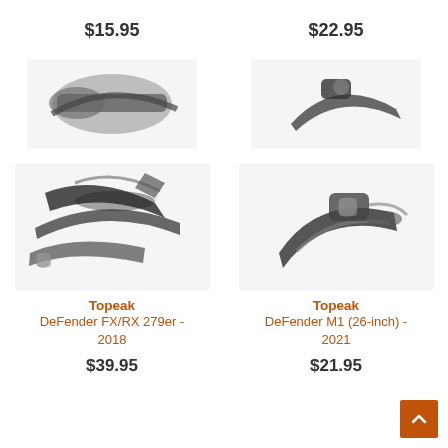$15.95
[Figure (photo): Topeak bicycle fender product photo - top left]
$22.95
[Figure (photo): Topeak DeFender M1 bicycle fender product photo - top right]
[Figure (photo): Topeak DeFender FX/RX 279er 2018 bicycle fender set product photo]
Topeak DeFender FX/RX 279er - 2018
$39.95
[Figure (photo): Topeak DeFender M1 (26-inch) 2021 bicycle fender product photo]
Topeak DeFender M1 (26-inch) - 2021
$21.95